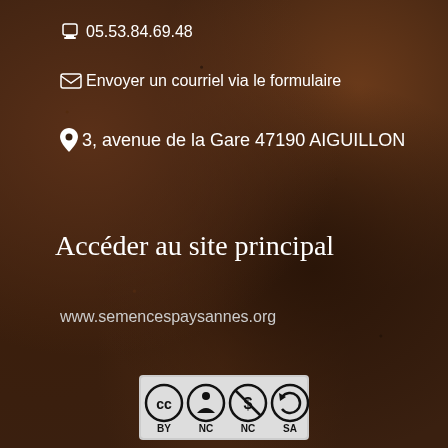🖨 05.53.84.69.48
✉ Envoyer un courriel via le formulaire
📍 3, avenue de la Gare 47190 AIGUILLON
Accéder au site principal
www.semencespaysannes.org
[Figure (logo): Creative Commons BY-NC-SA license badge with four circular icons: CC, person (BY), dollar-sign crossed (NC), circular arrow (SA), on a light grey background]